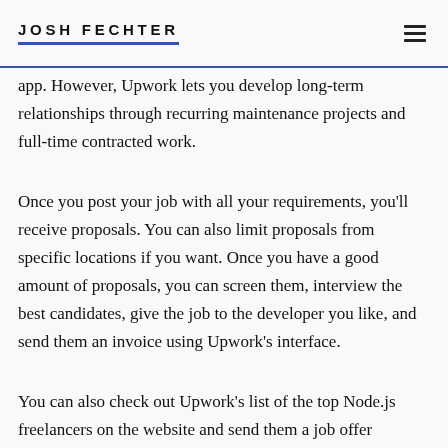JOSH FECHTER
app. However, Upwork lets you develop long-term relationships through recurring maintenance projects and full-time contracted work.
Once you post your job with all your requirements, you'll receive proposals. You can also limit proposals from specific locations if you want. Once you have a good amount of proposals, you can screen them, interview the best candidates, give the job to the developer you like, and send them an invoice using Upwork's interface.
You can also check out Upwork's list of the top Node.js freelancers on the website and send them a job offer